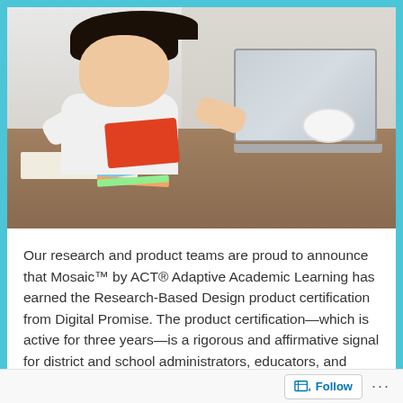[Figure (photo): A young Asian girl with dark bangs sitting at a desk, holding a red book/tablet, with an open notebook, colored pencils, and a laptop in front of her. A bowl of food is visible near the laptop.]
Our research and product teams are proud to announce that Mosaic™ by ACT® Adaptive Academic Learning has earned the Research-Based Design product certification from Digital Promise. The product certification—which is active for three years—is a rigorous and affirmative signal for district and school administrators, educators, and families who
Follow ···